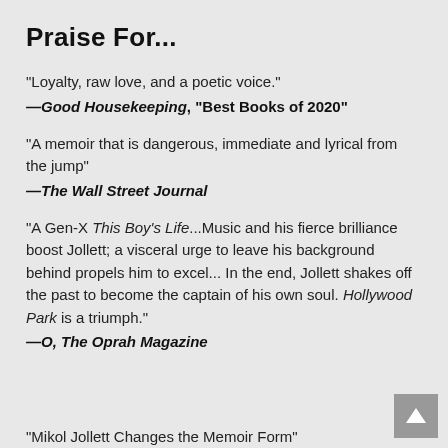Praise For...
"Loyalty, raw love, and a poetic voice."
—Good Housekeeping, "Best Books of 2020"
"A memoir that is dangerous, immediate and lyrical from the jump"
—The Wall Street Journal
"A Gen-X This Boy's Life...Music and his fierce brilliance boost Jollett; a visceral urge to leave his background behind propels him to excel... In the end, Jollett shakes off the past to become the captain of his own soul. Hollywood Park is a triumph."
—O, The Oprah Magazine
"Mikol Jollett Changes the Memoir Form"